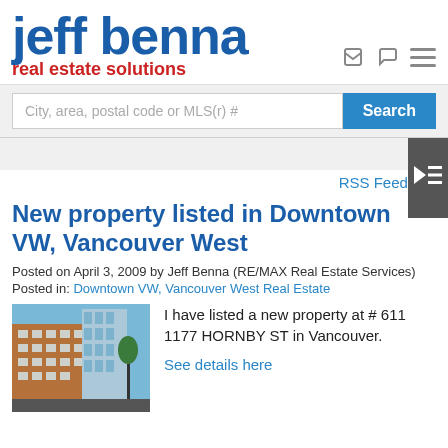[Figure (logo): Jeff Benna Real Estate Solutions logo — 'jeff benna' in large dark blue bold text, 'real estate solutions' in red below]
City, area, postal code or MLS(r) #
Search
RSS Feed
New property listed in Downtown VW, Vancouver West
Posted on April 3, 2009 by Jeff Benna (RE/MAX Real Estate Services)
Posted in: Downtown VW, Vancouver West Real Estate
[Figure (photo): Photo of a multi-storey brick and glass commercial/residential building in Vancouver against a blue sky]
I have listed a new property at # 611 1177 HORNBY ST in Vancouver.
See details here